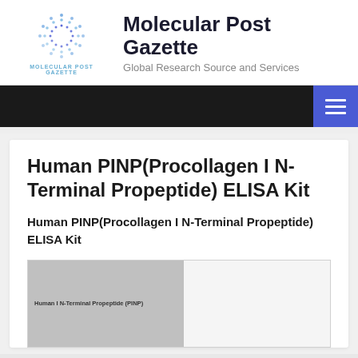[Figure (logo): Molecular Post Gazette circular dotted logo with text 'MOLECULAR POST GAZETTE' below]
Molecular Post Gazette
Global Research Source and Services
Navigation bar with hamburger menu button
Human PINP(Procollagen I N-Terminal Propeptide) ELISA Kit
Human PINP(Procollagen I N-Terminal Propeptide) ELISA Kit
[Figure (photo): Product image showing ELISA kit with partial text visible: 'Human I N-Terminal Propeptide (PINP)' on left gray panel, white panel on right with scroll-to-top arrow button]